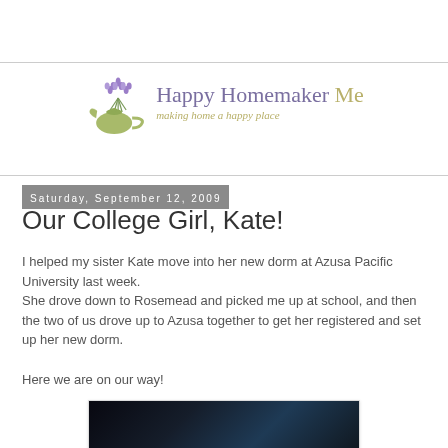[Figure (logo): Happy Homemaker Me blog logo with lavender flowers, green teapot, purple and olive-green text reading 'Happy Homemaker Me' with tagline 'making home a happy place']
Saturday, September 12, 2009
Our College Girl, Kate!
I helped my sister Kate move into her new dorm at Azusa Pacific University last week.
She drove down to Rosemead and picked me up at school, and then the two of us drove up to Azusa together to get her registered and set up her new dorm.
Here we are on our way!
[Figure (photo): Dark photograph, mostly dark blue and black tones, showing what appears to be the interior of a car at night or in low light.]